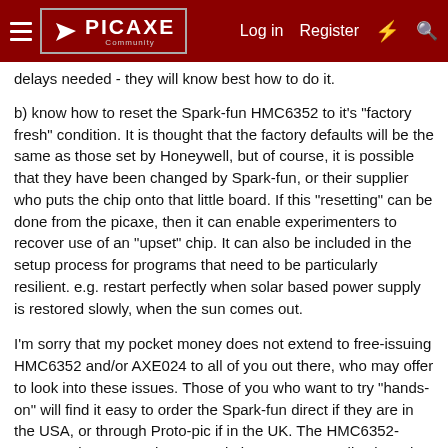PICAXE Community — Log in  Register
delays needed - they will know best how to do it.
b) know how to reset the Spark-fun HMC6352 to it's "factory fresh" condition. It is thought that the factory defaults will be the same as those set by Honeywell, but of course, it is possible that they have been changed by Spark-fun, or their supplier who puts the chip onto that little board. If this "resetting" can be done from the picaxe, then it can enable experimenters to recover use of an "upset" chip. It can also be included in the setup process for programs that need to be particularly resilient. e.g. restart perfectly when solar based power supply is restored slowly, when the sun comes out.
I'm sorry that my pocket money does not extend to free-issuing HMC6352 and/or AXE024 to all of you out there, who may offer to look into these issues. Those of you who want to try "hands-on" will find it easy to order the Spark-fun direct if they are in the USA, or through Proto-pic if in the UK. The HMC6352-AXE024 does seem the neat solution to many applications that need a